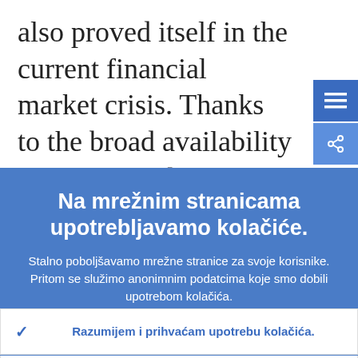also proved itself in the current financial market crisis. Thanks to the broad availability of euro liquidity, the currency has facilitated the stabilisation of the
Na mrežnim stranicama upotrebljavamo kolačiće.
Stalno poboljšavamo mrežne stranice za svoje korisnike. Pritom se služimo anonimnim podatcima koje smo dobili upotrebom kolačića.
Više o tome kako upotrebljavamo kolačiće
Razumijem i prihvaćam upotrebu kolačića.
Ne prihvaćam upotrebu kolačića.